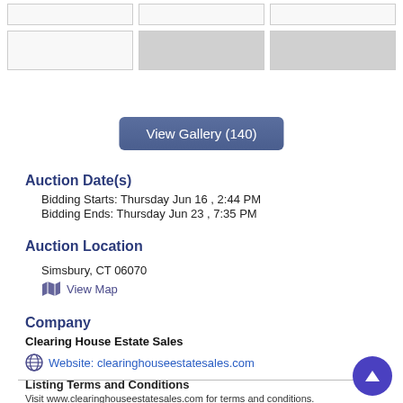[Figure (other): Top row of small image thumbnail placeholders (3 boxes)]
[Figure (other): Second row of image thumbnail placeholders (3 boxes, middle and right filled gray)]
View Gallery (140)
Auction Date(s)
Bidding Starts: Thursday Jun 16 , 2:44 PM
Bidding Ends: Thursday Jun 23 , 7:35 PM
Auction Location
Simsbury, CT 06070
View Map
Company
Clearing House Estate Sales
Website: clearinghouseestatesales.com
Listing Terms and Conditions
Visit www.clearinghouseestatesales.com for terms and conditions.